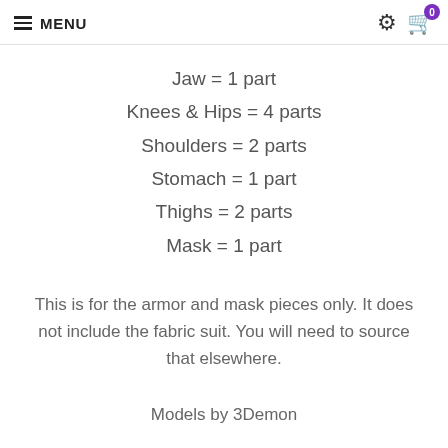MENU
Jaw = 1 part
Knees & Hips = 4 parts
Shoulders = 2 parts
Stomach = 1 part
Thighs = 2 parts
Mask = 1 part
This is for the armor and mask pieces only. It does not include the fabric suit. You will need to source that elsewhere.
Models by 3Demon